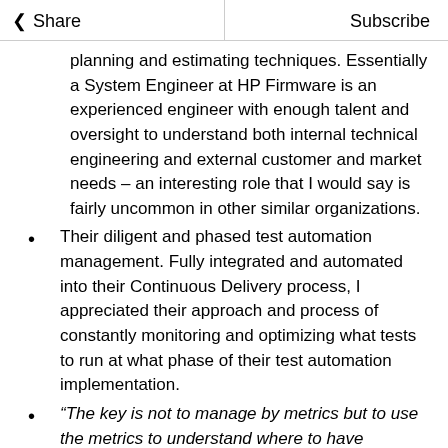Share | Subscribe
planning and estimating techniques. Essentially a System Engineer at HP Firmware is an experienced engineer with enough talent and oversight to understand both internal technical engineering and external customer and market needs – an interesting role that I would say is fairly uncommon in other similar organizations.
Their diligent and phased test automation management. Fully integrated and automated into their Continuous Delivery process, I appreciated their approach and process of constantly monitoring and optimizing what tests to run at what phase of their test automation implementation.
“The key is not to manage by metrics but to use the metrics to understand where to have